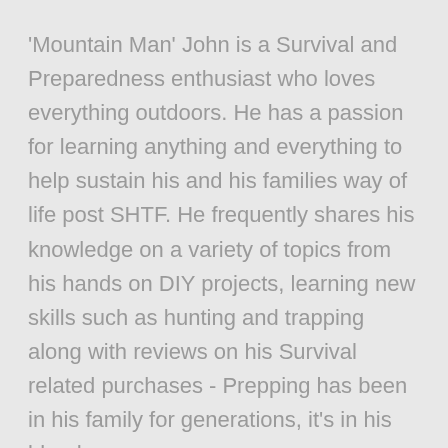'Mountain Man' John is a Survival and Preparedness enthusiast who loves everything outdoors. He has a passion for learning anything and everything to help sustain his and his families way of life post SHTF. He frequently shares his knowledge on a variety of topics from his hands on DIY projects, learning new skills such as hunting and trapping along with reviews on his Survival related purchases - Prepping has been in his family for generations, it's in his blood.